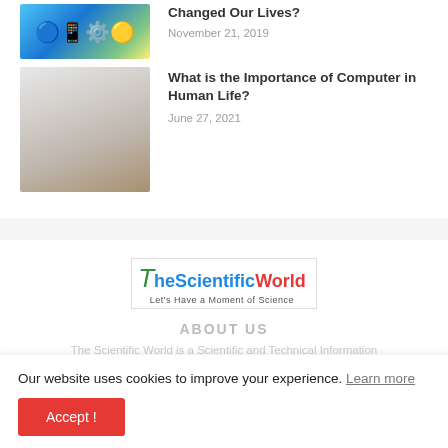[Figure (photo): Colorful tech/apps themed thumbnail image with icons and digital elements]
Changed Our Lives?
November 21, 2019
[Figure (photo): Computer setup on desk, gray/brown toned office photo]
What is the Importance of Computer in Human Life?
June 27, 2021
[Figure (logo): TheScientificWorld logo - Let's Have a Moment of Science]
ABOUT US
The Scientific World is a Scientific and Technical Information
Our website uses cookies to improve your experience. Learn more
Accept !